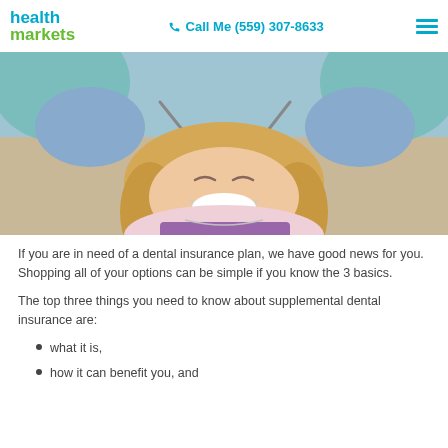health markets | Call Me (559) 307-8633
[Figure (photo): Woman at dental office smiling while dentist in blue gloves holds dental tools near her mouth]
If you are in need of a dental insurance plan, we have good news for you. Shopping all of your options can be simple if you know the 3 basics.
The top three things you need to know about supplemental dental insurance are:
what it is,
how it can benefit you, and